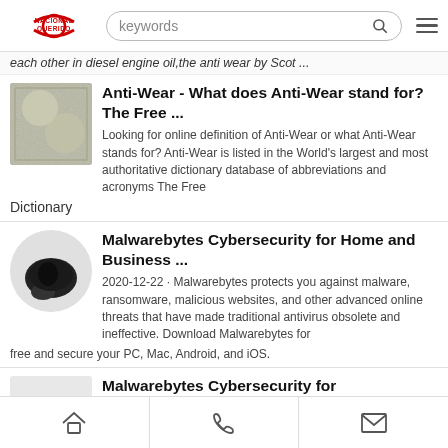[Figure (screenshot): NacionalQuerido website logo with red arc design]
keywords
each other in diesel engine oil,the anti wear by Scot ...
Anti-Wear - What does Anti-Wear stand for? The Free ...
Looking for online definition of Anti-Wear or what Anti-Wear stands for? Anti-Wear is listed in the World's largest and most authoritative dictionary database of abbreviations and acronyms The Free
Dictionary
Malwarebytes Cybersecurity for Home and Business ...
2020-12-22 · Malwarebytes protects you against malware, ransomware, malicious websites, and other advanced online threats that have made traditional antivirus obsolete and ineffective. Download Malwarebytes for free and secure your PC, Mac, Android, and iOS.
Malwarebytes Cybersecurity for Home and Business ...